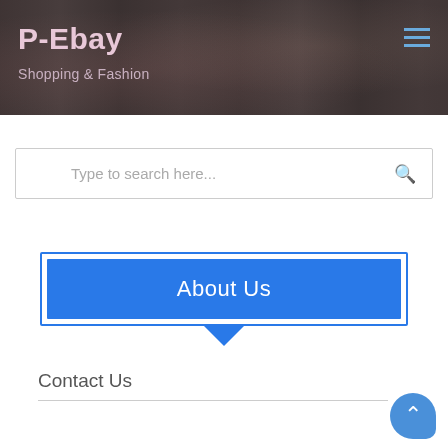[Figure (screenshot): Website header/hero image with dark overlay showing a fashion store interior. Contains site title 'P-Ebay', subtitle 'Shopping & Fashion', and a hamburger menu icon in the top right.]
Type to search here...
About Us
Contact Us